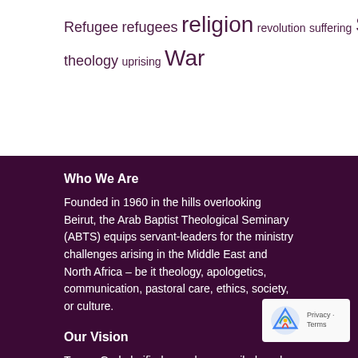Refugee refugees religion revolution suffering Syria theology uprising War
Who We Are
Founded in 1960 in the hills overlooking Beirut, the Arab Baptist Theological Seminary (ABTS) equips servant-leaders for the ministry challenges arising in the Middle East and North Africa – be it theology, apologetics, communication, pastoral care, ethics, society, or culture.
Our Vision
To see God glorified, people reconciled, and communities restored through the Church in the Arab world.
Our Mission
To serve the Church in our region as it realizes its Biblical mis… having Christ acknowledged as Lord by offering specialized…